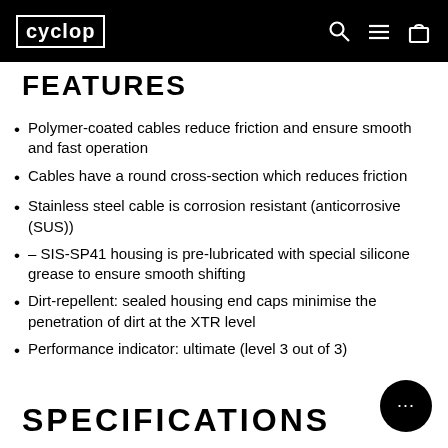cyclop
FEATURES
Polymer-coated cables reduce friction and ensure smooth and fast operation
Cables have a round cross-section which reduces friction
Stainless steel cable is corrosion resistant (anticorrosive (SUS))
– SIS-SP41 housing is pre-lubricated with special silicone grease to ensure smooth shifting
Dirt-repellent: sealed housing end caps minimise the penetration of dirt at the XTR level
Performance indicator: ultimate (level 3 out of 3)
SPECIFICATIONS